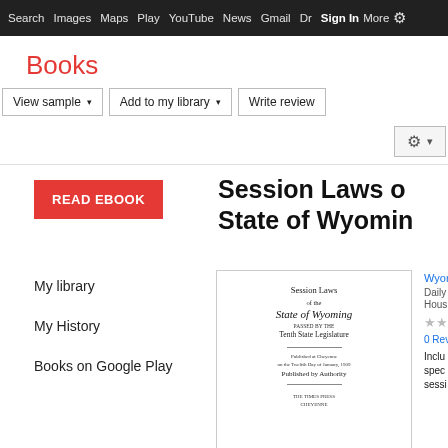Search  Images  Maps  Play  YouTube  News  Gmail  Drive  More  Sign In  ⚙
Books
View sample ▾   Add to my library ▾   Write review   ⚙ ▾
READ EBOOK
Session Laws o State of Wyomin
My library
My History
Books on Google Play
[Figure (photo): Book cover of Session Laws of the State of Wyoming, Tenth State Legislature, Published by Authority]
Wyor... Daily Hous... ★★ 0 Rev... Inclu spec sessi